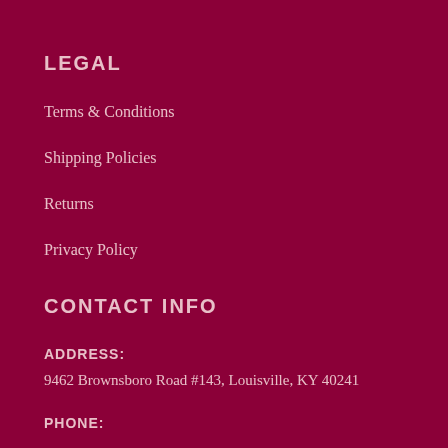LEGAL
Terms & Conditions
Shipping Policies
Returns
Privacy Policy
CONTACT INFO
ADDRESS:
9462 Brownsboro Road #143, Louisville, KY 40241
PHONE: